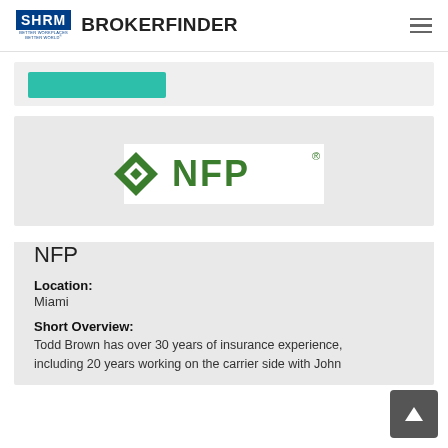SHRM BROKERFINDER
[Figure (logo): NFP company logo - green diamond icon with NFP text in green]
NFP
Location:
Miami
Short Overview:
Todd Brown has over 30 years of insurance experience, including 20 years working on the carrier side with John